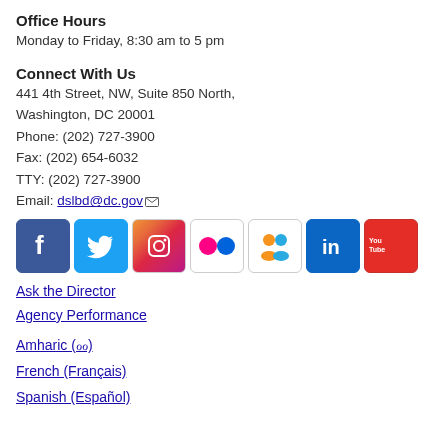Office Hours
Monday to Friday, 8:30 am to 5 pm
Connect With Us
441 4th Street, NW, Suite 850 North,
Washington, DC 20001
Phone: (202) 727-3900
Fax: (202) 654-6032
TTY: (202) 727-3900
Email: dslbd@dc.gov
[Figure (other): Row of social media icons: Facebook, Twitter, Instagram, Flickr, another social icon, LinkedIn, YouTube]
Ask the Director
Agency Performance
Amharic (_)
French (Français)
Spanish (Español)